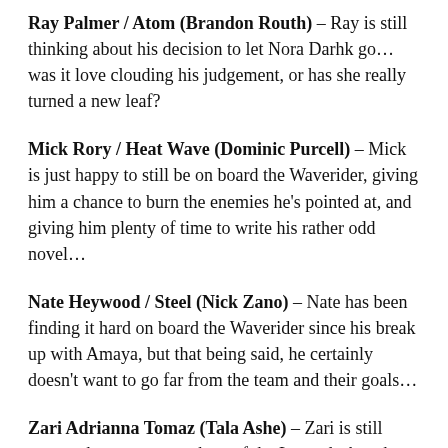Ray Palmer / Atom (Brandon Routh) – Ray is still thinking about his decision to let Nora Darhk go… was it love clouding his judgement, or has she really turned a new leaf?
Mick Rory / Heat Wave (Dominic Purcell) – Mick is just happy to still be on board the Waverider, giving him a chance to burn the enemies he's pointed at, and giving him plenty of time to write his rather odd novel…
Nate Heywood / Steel (Nick Zano) – Nate has been finding it hard on board the Waverider since his break up with Amaya, but that being said, he certainly doesn't want to go far from the team and their goals…
Zari Adrianna Tomaz (Tala Ashe) – Zari is still among the newest members of the Legends, but she has settled